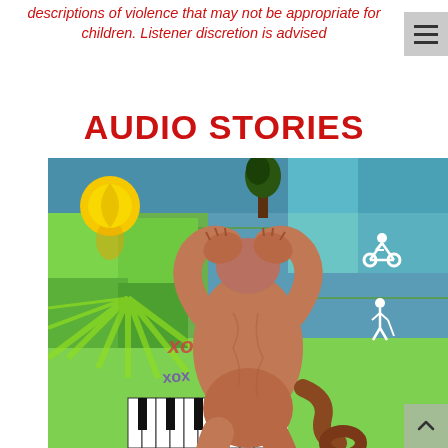Please note that some stories contain descriptions of violence that may not be appropriate for children. Listener discretion is advised
AUDIO STORIES
[Figure (photo): A ceramic or clay sculpture of a humanoid figure with arms raised covering its face, set against a colorful geometric mural painting. The mural features green, blue and teal cube shapes, a yellow sun/balloon, a cyclist, a hiker, piano keys, and graffiti-style text reading 'xoxo'.]